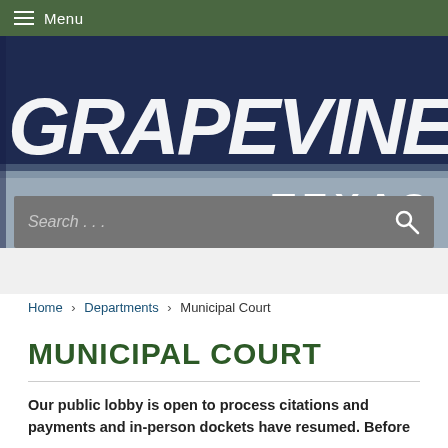Menu
[Figure (screenshot): Grapevine Texas city website banner logo with handwritten 'GRAPEVINE' text over dark blue and grey gradient background, with 'TEXAS' in large bold letters]
Search . . .
Home › Departments › Municipal Court
MUNICIPAL COURT
Our public lobby is open to process citations and payments and in-person dockets have resumed.  Before